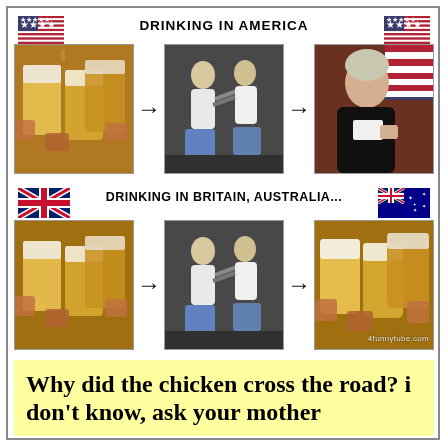[Figure (infographic): Two-row infographic meme. Top row labeled 'DRINKING IN AMERICA' with US flags, showing: beer glasses clinking → people fighting → judge/courtroom. Bottom row labeled 'DRINKING IN BRITAIN, AUSTRALIA...' with UK and Australian flags, showing: beer glasses clinking → people fighting → beer glasses clinking again. Watermark: 4funnytube.com]
Why did the chicken cross the road? i don't know, ask your mother